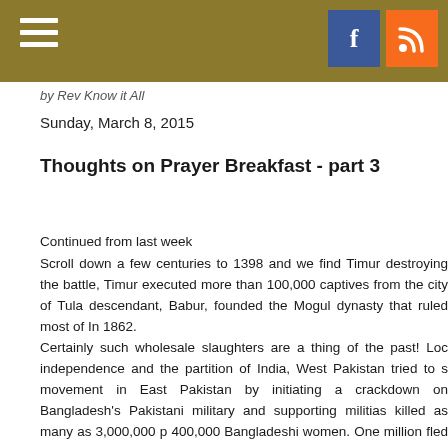by Rev Know it All
Sunday, March 8, 2015
Thoughts on Prayer Breakfast - part 3
Continued from last week
Scroll down a few centuries to 1398 and we find Timur destroying the battle, Timur executed more than 100,000 captives from the city of Tula descendant, Babur, founded the Mogul dynasty that ruled most of In 1862.
Certainly such wholesale slaughters are a thing of the past! Loc independence and the partition of India, West Pakistan tried to s movement in East Pakistan by initiating a crackdown on Bangladesh's Pakistani military and supporting militias killed as many as 3,000,000 p 400,000 Bangladeshi women. One million fled to India. This is admitte you conceive of a current western army raping 400,000 women?
These are certainly not isolated incidents. Just three months before th Jihadists killed around 5,000 people in Syria, Africa and elsewhere, accor FIVE THOUSAND (5,000) IN ONE MONTH. ONE MONTH!!! A good rule of